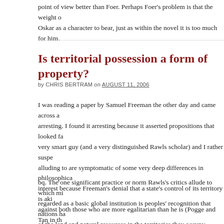point of view better than Foer. Perhaps Foer's problem is that the weight of Oskar as a character to bear, just as within the novel it is too much for him.
Is territorial possession a form of property?
by CHRIS BERTRAM on AUGUST 11, 2006
I was reading a paper by Samuel Freeman the other day and came across a arresting. I found it arresting because it asserted propositions that looked fa very smart guy (and a very distinguished Rawls scholar) and I rather suspe alluding to are symptomatic of some very deep differences in philosophica interest because Freeman's denial that a state's control of its territory is aki against both those who are more egalitarian than he is (Pogge and Tan in th those like Philippe Van Parijs who claim the existence of borders is suffici global basic structure) and Lockean libertarians. I reproduce the passage b (possibly inept) reactions from me.
bq. The one significant practice or norm Rawls's critics allude to which mi regarded as a basic global institution is peoples' recognition that nations ha of the land and natural resources in the territories they occupy. Pogge, K. C example as justifying a need for a global distribution principle to regulato